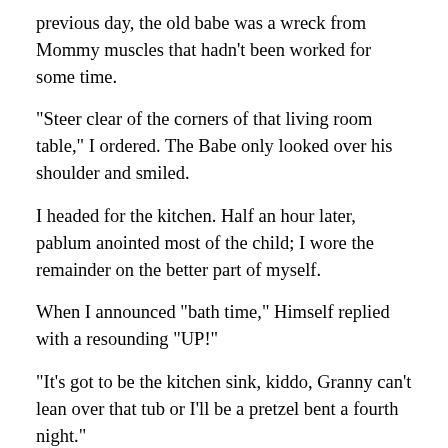previous day, the old babe was a wreck from Mommy muscles that hadn't been worked for some time.
“Steer clear of the corners of that living room table,” I ordered. The Babe only looked over his shoulder and smiled.
I headed for the kitchen. Half an hour later, pablum anointed most of the child; I wore the remainder on the better part of myself.
When I announced “bath time,” Himself replied with a resounding “UP!”
“It’s got to be the kitchen sink, kiddo, Granny can’t lean over that tub or I’ll be a pretzel bent a fourth night.”
“UP,” was his reply.
I wished his Uncle Alex was with me to hear the word à la mode. Maybe he was giving his God Father an acknowledgment.